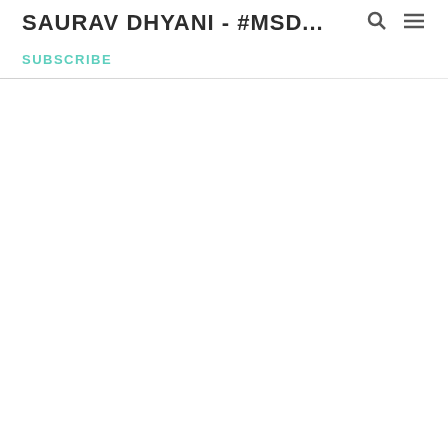SAURAV DHYANI - #MSD...
SUBSCRIBE